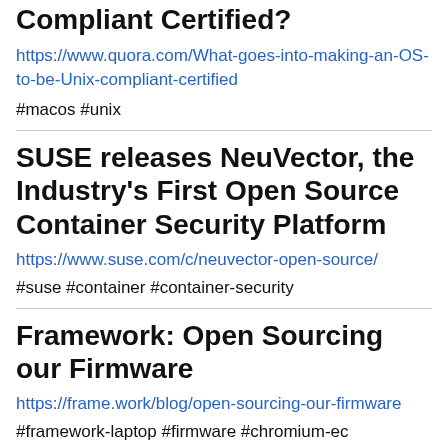Compliant Certified?
https://www.quora.com/What-goes-into-making-an-OS-to-be-Unix-compliant-certified
#macos #unix
SUSE releases NeuVector, the Industry's First Open Source Container Security Platform
https://www.suse.com/c/neuvector-open-source/
#suse #container #container-security
Framework: Open Sourcing our Firmware
https://frame.work/blog/open-sourcing-our-firmware
#framework-laptop #firmware #chromium-ec